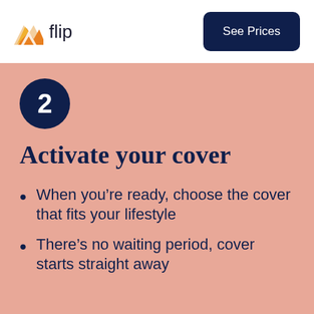[Figure (logo): Flip insurance logo — orange and yellow mountain/chevron icon with the word 'flip' in dark navy text]
See Prices
2
Activate your cover
When you're ready, choose the cover that fits your lifestyle
There's no waiting period, cover starts straight away